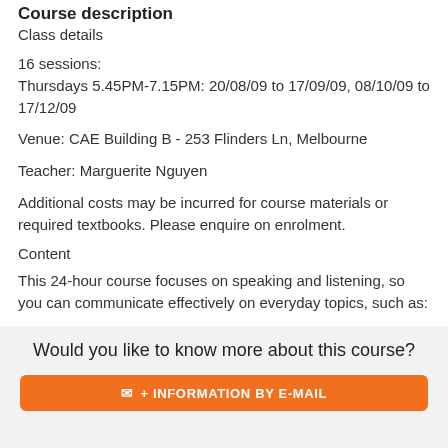Course description
Class details
16 sessions:
Thursdays 5.45PM-7.15PM: 20/08/09 to 17/09/09, 08/10/09 to 17/12/09
Venue: CAE Building B - 253 Flinders Ln, Melbourne
Teacher: Marguerite Nguyen
Additional costs may be incurred for course materials or required textbooks. Please enquire on enrolment.
Content
This 24-hour course focuses on speaking and listening, so you can communicate effectively on everyday topics, such as:
Would you like to know more about this course?
+ INFORMATION BY E-MAIL